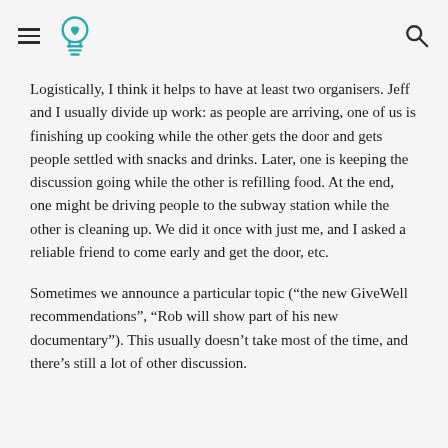[hamburger menu icon] [lightbulb with heart logo] [search icon]
Logistically, I think it helps to have at least two organisers.  Jeff and I usually divide up work: as people are arriving, one of us is finishing up cooking while the other gets the door and gets people settled with snacks and drinks.  Later, one is keeping the discussion going while the other is refilling food.  At the end, one might be driving people to the subway station while the other is cleaning up.  We did it once with just me, and I asked a reliable friend to come early and get the door, etc.
Sometimes we announce a particular topic (“the new GiveWell recommendations”, “Rob will show part of his new documentary”). This usually doesn’t take most of the time, and there’s still a lot of other discussion.